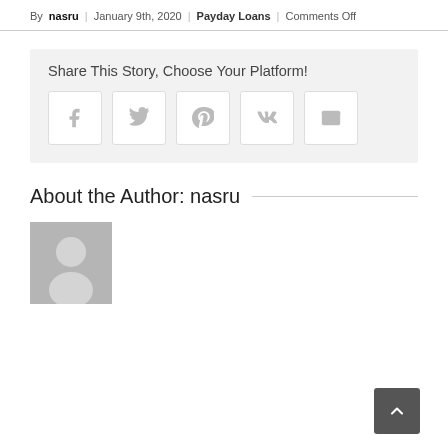By nasru | January 9th, 2020 | Payday Loans | Comments Off
Share This Story, Choose Your Platform!
[Figure (infographic): Social sharing icons: Facebook, Twitter, Pinterest, VK, Email]
About the Author: nasru
[Figure (photo): Default avatar placeholder image for author nasru]